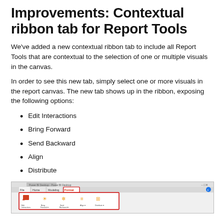Improvements: Contextual ribbon tab for Report Tools
We've added a new contextual ribbon tab to include all Report Tools that are contextual to the selection of one or multiple visuals in the canvas.
In order to see this new tab, simply select one or more visuals in the report canvas. The new tab shows up in the ribbon, exposing the following options:
Edit Interactions
Bring Forward
Send Backward
Align
Distribute
[Figure (screenshot): Screenshot of Power BI Desktop showing the contextual Report Tools ribbon tab with icons for Edit Interactions, Bring Forward, Send Backward, Align, and Distribute highlighted with a red border.]